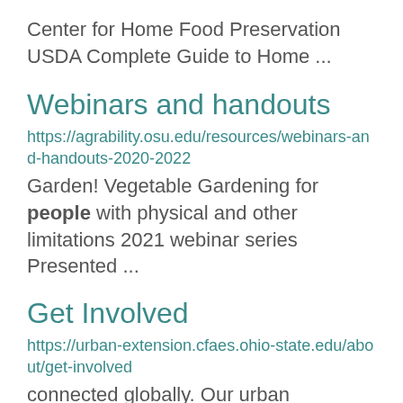Center for Home Food Preservation USDA Complete Guide to Home ...
Webinars and handouts
https://agrability.osu.edu/resources/webinars-and-handouts-2020-2022
Garden! Vegetable Gardening for people with physical and other limitations 2021 webinar series Presented ...
Get Involved
https://urban-extension.cfaes.ohio-state.edu/about/get-involved
connected globally. Our urban Extension professionals respond to urban issues and